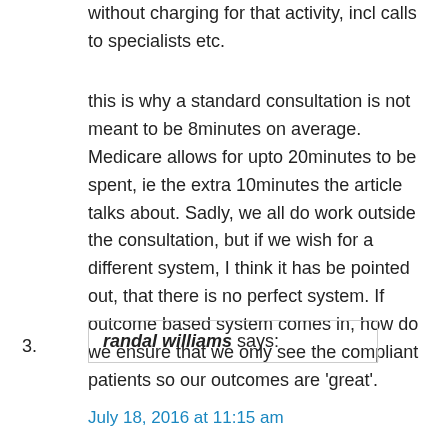without charging for that activity, incl calls to specialists etc.
this is why a standard consultation is not meant to be 8minutes on average. Medicare allows for upto 20minutes to be spent, ie the extra 10minutes the article talks about. Sadly, we all do work outside the consultation, but if we wish for a different system, I think it has be pointed out, that there is no perfect system. If outcome based system comes in, how do we ensure that we only see the compliant patients so our outcomes are 'great'.
3.
randal williams says:
July 18, 2016 at 11:15 am